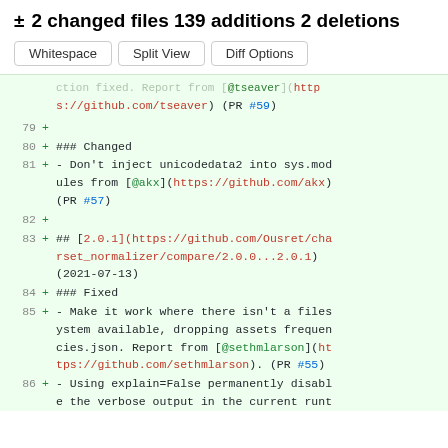± 2 changed files 139 additions 2 deletions
Whitespace  Split View  Diff Options
79 +
80 + ### Changed
81 + - Don't inject unicodedata2 into sys.modules from [@akx](https://github.com/akx) (PR #57)
82 +
83 + ## [2.0.1](https://github.com/Ousret/charset_normalizer/compare/2.0.0...2.0.1) (2021-07-13)
84 + ### Fixed
85 + - Make it work where there isn't a filesystem available, dropping assets frequencies.json. Report from [@sethmlarson](https://github.com/sethmlarson). (PR #55)
86 + - Using explain=False permanently disable the verbose output in the current runt